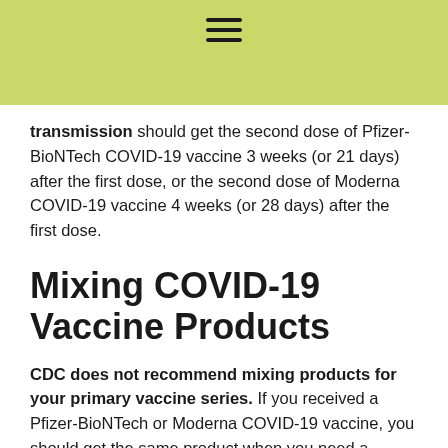≡
transmission should get the second dose of Pfizer-BioNTech COVID-19 vaccine 3 weeks (or 21 days) after the first dose, or the second dose of Moderna COVID-19 vaccine 4 weeks (or 28 days) after the first dose.
Mixing COVID-19 Vaccine Products
CDC does not recommend mixing products for your primary vaccine series. If you received a Pfizer-BioNTech or Moderna COVID-19 vaccine, you should get the same product when you need a